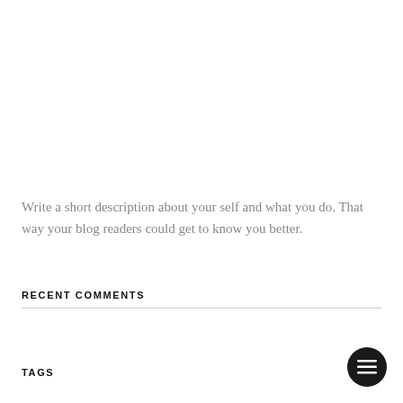Write a short description about your self and what you do. That way your blog readers could get to know you better.
RECENT COMMENTS
TAGS